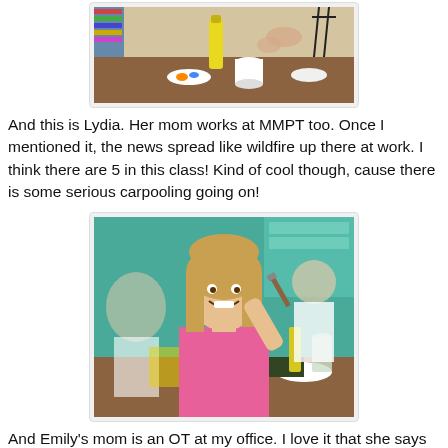[Figure (photo): Partial view of children at a craft/art table with paint supplies, cups, and brushes.]
And this is Lydia. Her mom works at MMPT too. Once I mentioned it, the news spread like wildfire up there at work. I think there are 5 in this class! Kind of cool though, cause there is some serious carpooling going on!
[Figure (photo): A young girl with blonde hair in a pink top smiling and holding a paint brush at an art class table. Other children visible in the background.]
And Emily's mom is an OT at my office. I love it that she says Emily has said DAILY since last Monday, "I can't wait til next Monday!". Very cool!